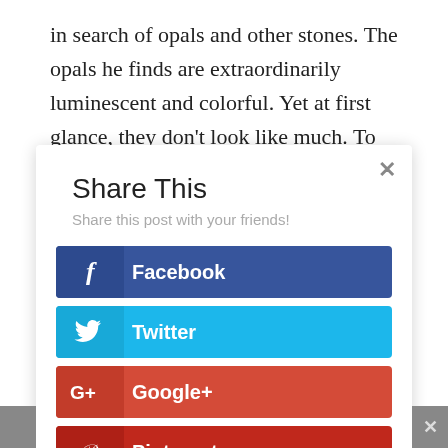in search of opals and other stones. The opals he finds are extraordinarily luminescent and colorful. Yet at first glance, they don't look like much. To the untrained eye they appear rough and chalky.
[Figure (screenshot): Share This modal dialog with social sharing buttons: Facebook (dark blue), Twitter (light blue), Google+ (red-orange), Pinterest (dark red). Has a close X button in top right corner. Subtitle reads 'Share this post with your friends!']